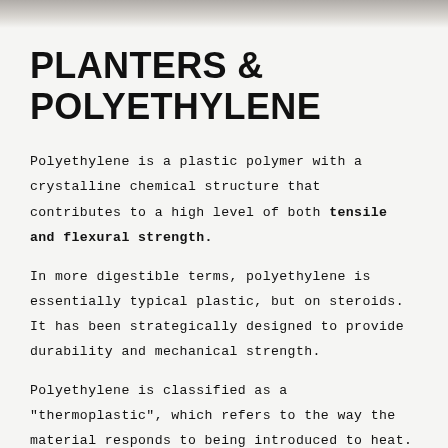[Figure (photo): Decorative image strip at top of page, showing a muted brownish-gray surface or material]
PLANTERS & POLYETHYLENE
Polyethylene is a plastic polymer with a crystalline chemical structure that contributes to a high level of both tensile and flexural strength.
In more digestible terms, polyethylene is essentially typical plastic, but on steroids. It has been strategically designed to provide durability and mechanical strength.
Polyethylene is classified as a "thermoplastic", which refers to the way the material responds to being introduced to heat. Thermoplastics can be heated up and formed before cooling down and hardening, without any loss of structural integrity.